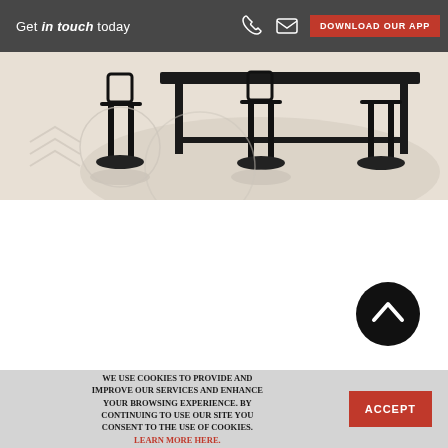[Figure (screenshot): Website header with dark overlay bar showing 'Get in touch today' text, phone icon, email icon, and red 'DOWNLOAD OUR APP' button over a photo of a dining room with black chairs, dark table, and light wood flooring]
[Figure (other): Black circular scroll-to-top button with white chevron/arrow pointing upward]
WE USE COOKIES TO PROVIDE AND IMPROVE OUR SERVICES AND ENHANCE YOUR BROWSING EXPERIENCE. BY CONTINUING TO USE OUR SITE YOU CONSENT TO THE USE OF COOKIES. LEARN MORE HERE.
ACCEPT